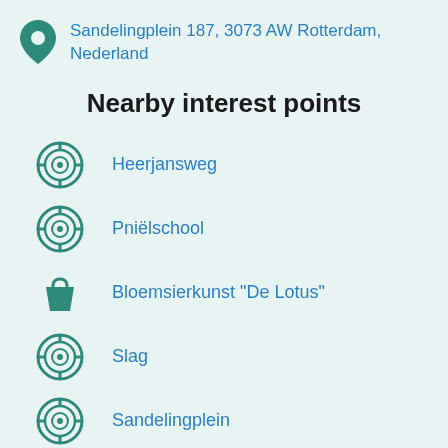Sandelingplein 187, 3073 AW Rotterdam, Nederland
Nearby interest points
Heerjansweg
Pniëlschool
Bloemsierkunst "De Lotus"
Slag
Sandelingplein